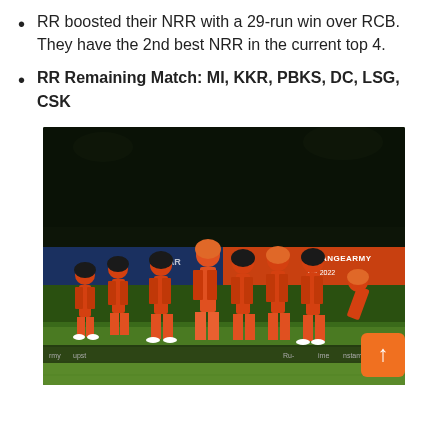RR boosted their NRR with a 29-run win over RCB. They have the 2nd best NRR in the current top 4.
RR Remaining Match: MI, KKR, PBKS, DC, LSG, CSK
[Figure (photo): Cricket players in orange SunRisers Hyderabad jerseys walking on a cricket field at night. Players wearing orange uniforms with black trim. Banner in background reads #ORANGEARMY and UE 2022. Sponsor boards visible at bottom including upstox, Ru-, and instamart.]